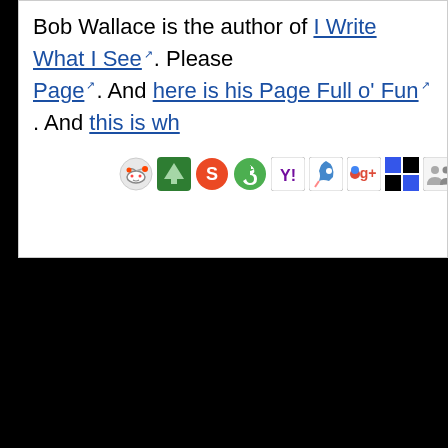Bob Wallace is the author of I Write What I See. Please visit his Page. And here is his Page Full o' Fun. And this is wh...
[Figure (screenshot): A row of social sharing icons (Reddit, Treehugger/green, StumbleUpon, Tumblr/green, Yahoo, Blogmarks/rocket, Google+, Delicious, MySpace/people, Facebook) followed by a Login link]